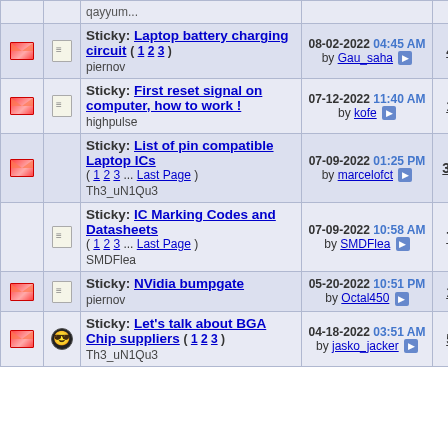|  |  | Topic | Last Post | Replies | Views |
| --- | --- | --- | --- | --- | --- |
| [envelope][note] |  | Sticky: Laptop battery charging circuit ( 1 2 3 )
piernov | 08-02-2022 04:45 AM
by Gau_saha | 48 | 35,097 |
| [envelope][note] |  | Sticky: First reset signal on computer, how to work !
highpulse | 07-12-2022 11:40 AM
by kofe | 19 | 10,061 |
| [envelope] |  | Sticky: List of pin compatible Laptop ICs
( 1 2 3 ... Last Page )
Th3_uN1Qu3 | 07-09-2022 01:25 PM
by marcelofct | 311 | 312,990 |
| [note] |  | Sticky: IC Marking Codes and Datasheets
( 1 2 3 ... Last Page )
SMDFlea | 07-09-2022 10:58 AM
by SMDFlea | 75 | 63,382 |
| [envelope][note] |  | Sticky: NVidia bumpgate
piernov | 05-20-2022 10:51 PM
by Octal450 | 10 | 6,551 |
| [envelope][smiley] |  | Sticky: Let's talk about BGA Chip suppliers ( 1 2 3 )
Th3_uN1Qu3 | 04-18-2022 03:51 AM
by jasko_jacker | 54 | 57,565 |